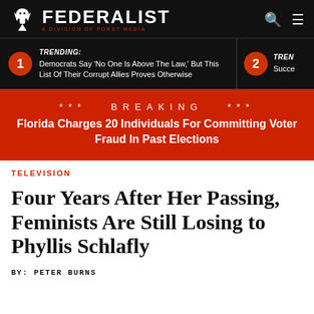FEDERALIST — A DIVISION OF FORST MEDIA
TRENDING: Democrats Say 'No One Is Above The Law,' But This List Of Their Corrupt Allies Proves Otherwise
2 TREN Succe
*** BREAKING *** Florida Charges 20 Individuals For Committing Voter Fraud In Past Elections
TELEVISION
Four Years After Her Passing, Feminists Are Still Losing to Phyllis Schlafly
BY: PETER BURNS